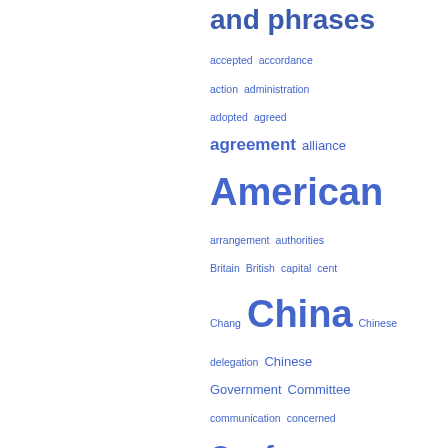and phrases
[Figure (infographic): Word cloud / index of words and phrases in blue, varying font sizes indicating frequency. Words include: accepted, accordance, action, administration, adopted, agreed, agreement, alliance, American, arrangement, authorities, Britain, British, capital, cent, Chang, China, Chinese, delegation, Chinese Government, Committee, communication, concerned, Conference, contracting, customs, demands, desire, duties, East, Eastern, economic, effect, England, equal]
accepted  accordance
action  administration
adopted  agreed
agreement  alliance
American
arrangement  authorities
Britain  British  capital  cent
Chang  China  Chinese
delegation  Chinese Government  Committee
communication  concerned
Conference
contracting  customs
demands  desire  duties
East  Eastern  economic
effect  England  equal